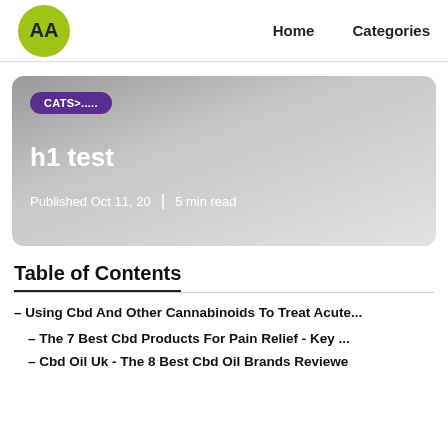AA | Home | Categories
[Figure (screenshot): Hero card with gradient background, CATS>..... badge, h1 test title, Published Oct 11, 20 | 5 min read]
Table of Contents
– Using Cbd And Other Cannabinoids To Treat Acute...
– The 7 Best Cbd Products For Pain Relief - Key ...
– Cbd Oil Uk - The 8 Best Cbd Oil Brands Reviewe